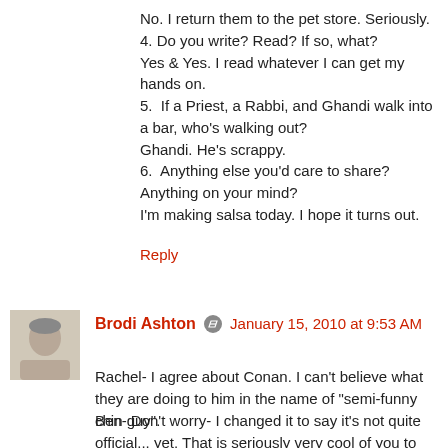No. I return them to the pet store. Seriously.
4. Do you write? Read? If so, what?
Yes & Yes. I read whatever I can get my hands on.
5. If a Priest, a Rabbi, and Ghandi walk into a bar, who's walking out?
Ghandi. He's scrappy.
6. Anything else you'd care to share? Anything on your mind?
I'm making salsa today. I hope it turns out.
Reply
Brodi Ashton  January 15, 2010 at 9:53 AM
Rachel- I agree about Conan. I can't believe what they are doing to him in the name of "semi-funny chin guy".
Ben- Don't worry- I changed it to say it's not quite official... yet. That is seriously very cool of you to make the page though!
Debbie- It takes me three licks. But, I admit, I have a